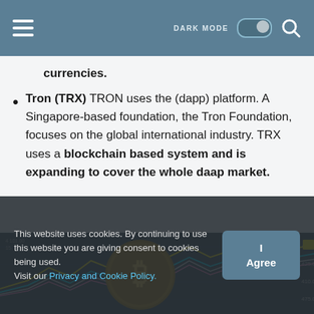DARK MODE [toggle] [search]
currencies.
Tron (TRX) TRON uses the (dapp) platform. A Singapore-based foundation, the Tron Foundation, focuses on the global international industry. TRX uses a blockchain based system and is expanding to cover the whole daap market.
[Figure (photo): A gold Bitcoin coin overlaid on a financial chart showing multiple colored lines (cyan, yellow, white, pink) with price data visible in background]
This website uses cookies. By continuing to use this website you are giving consent to cookies being used. Visit our Privacy and Cookie Policy.